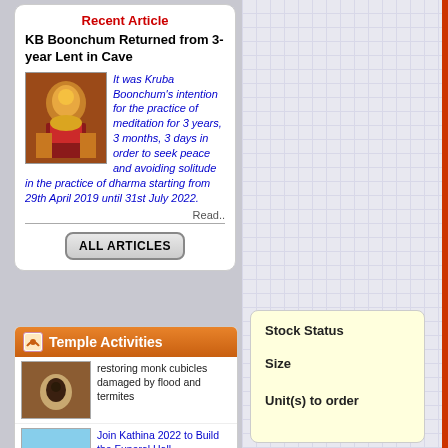Recent Article
KB Boonchum Returned from 3-year Lent in Cave
It was Kruba Boonchum's intention for the practice of meditation for 3 years, 3 months, 3 days in order to seek peace and avoiding solitude in the practice of dharma starting from 29th April 2019 until 31st July 2022.
Read..
Temple Activities
restoring monk cubicles damaged by flood and termites
Join Kathina 2022 to Build the Funeral Hall
Kathina 2022 to
Stock Status
Size
Unit(s) to order